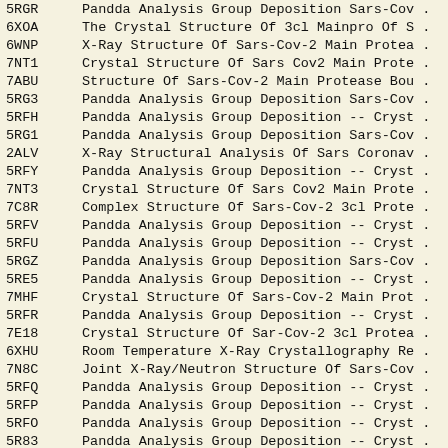| ID | Description |
| --- | --- |
| 5RGR | Pandda Analysis Group Deposition Sars-Cov . |
| 6XOA | The Crystal Structure Of 3cl Mainpro Of S . |
| 6WNP | X-Ray Structure Of Sars-Cov-2 Main Protea . |
| 7NT1 | Crystal Structure Of Sars Cov2 Main Prote . |
| 7ABU | Structure Of Sars-Cov-2 Main Protease Bou . |
| 5RG3 | Pandda Analysis Group Deposition Sars-Cov . |
| 5RFH | Pandda Analysis Group Deposition -- Cryst . |
| 5RG1 | Pandda Analysis Group Deposition Sars-Cov . |
| 2ALV | X-Ray Structural Analysis Of Sars Coronav . |
| 5RFY | Pandda Analysis Group Deposition -- Cryst . |
| 7NT3 | Crystal Structure Of Sars Cov2 Main Prote . |
| 7C8R | Complex Structure Of Sars-Cov-2 3cl Prote . |
| 5RFV | Pandda Analysis Group Deposition -- Cryst . |
| 5RFU | Pandda Analysis Group Deposition -- Cryst . |
| 5RGZ | Pandda Analysis Group Deposition Sars-Cov . |
| 5RE5 | Pandda Analysis Group Deposition -- Cryst . |
| 7MHF | Crystal Structure Of Sars-Cov-2 Main Prot . |
| 5RFR | Pandda Analysis Group Deposition -- Cryst . |
| 7E18 | Crystal Structure Of Sar-Cov-2 3cl Protea . |
| 6XHU | Room Temperature X-Ray Crystallography Re . |
| 7N8C | Joint X-Ray/Neutron Structure Of Sars-Cov . |
| 5RFQ | Pandda Analysis Group Deposition -- Cryst . |
| 5RFP | Pandda Analysis Group Deposition -- Cryst . |
| 5RFO | Pandda Analysis Group Deposition -- Cryst . |
| 5R83 | Pandda Analysis Group Deposition -- Cryst . |
| 5REM | Pandda Analysis Group Deposition -- Cryst . |
| 5REL | Pandda Analysis Group Deposition -- Cryst . |
| 5REH | Pandda Analysis Group Deposition -- Cryst . |
| 5REG | Pandda Analysis Group Deposition -- Cryst . |